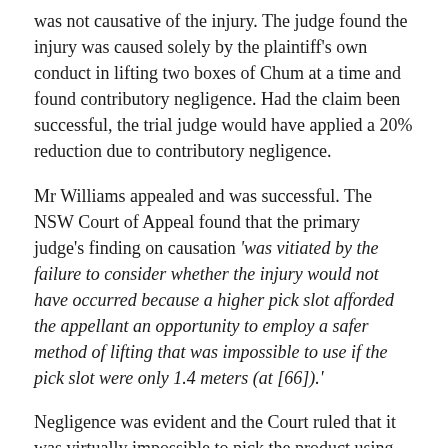was not causative of the injury. The judge found the injury was caused solely by the plaintiff's own conduct in lifting two boxes of Chum at a time and found contributory negligence. Had the claim been successful, the trial judge would have applied a 20% reduction due to contributory negligence.
Mr Williams appealed and was successful. The NSW Court of Appeal found that the primary judge's finding on causation 'was vitiated by the failure to consider whether the injury would not have occurred because a higher pick slot afforded the appellant an opportunity to employ a safer method of lifting that was impossible to use if the pick slot were only 1.4 meters (at [66]).'
Negligence was evident and the Court ruled that it was virtually impossible to pick the product using safe lifting and handling techniques prescribed by the employer. The consequent liability was established.